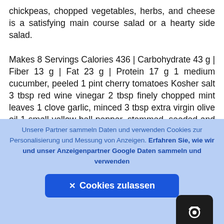chickpeas, chopped vegetables, herbs, and cheese is a satisfying main course salad or a hearty side salad.

Makes 8 Servings Calories 436 | Carbohydrate 43 g | Fiber 13 g | Fat 23 g | Protein 17 g 1 medium cucumber, peeled 1 pint cherry tomatoes Kosher salt 3 tbsp red wine vinegar 2 tbsp finely chopped mint leaves 1 clove garlic, minced 3 tbsp extra virgin olive oil 1 small yellow bell pepper, stemmed, seeded and chopped 1/2 cup chopped pitted kalamata olives 1/2 small red onion, minced 1 c oz) chickpeas, drained and rinsed 1/4 cup lightly packed chopped parsley leaves 1 cup crumbled feta cheese (about 4 oz) Freshly ground black
Unsere Partner sammeln Daten und verwenden Cookies zur Personalisierung und Messung von Anzeigen. Erfahren Sie, wie wir und unser Anzeigenpartner Google Daten sammeln und verwenden
✕ Cookies zulassen